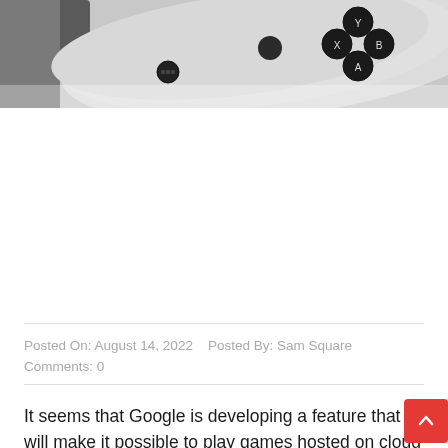[Figure (photo): Close-up photo of a white Google Stadia game controller showing black buttons (Y, X, B, A arrangement) and a small three-dot button on the left side]
Posted On: August 14, 2022   Posted By: Sam Square
Comments: 0
It seems that Google is developing a feature that will make it possible to play games hosted on cloud